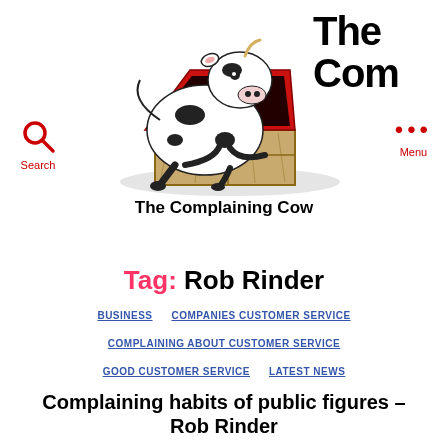[Figure (illustration): Cartoon illustration of a cow sitting at a wooden desk/crate using a red laptop computer, with a gray shadow beneath]
The Complaining Cow (partial - 'The Com' visible in header)
Search
Menu
The Complaining Cow
Tag: Rob Rinder
BUSINESS   COMPANIES CUSTOMER SERVICE   COMPLAINING ABOUT CUSTOMER SERVICE   GOOD CUSTOMER SERVICE   LATEST NEWS
Complaining habits of public figures – Rob Rinder